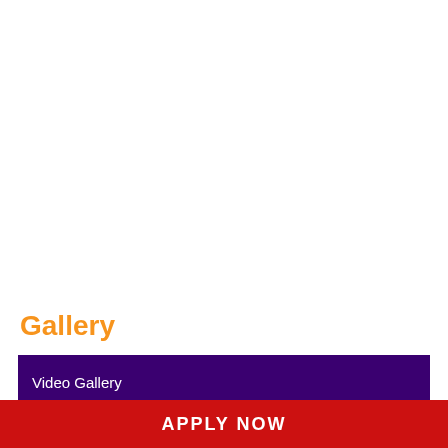Gallery
Video Gallery
[Figure (screenshot): Video thumbnail showing a dark/black preview image of a video]
APPLY NOW